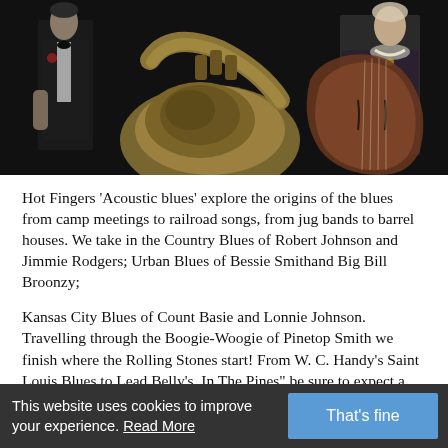[Figure (photo): Black and white photo of musicians in formal attire with brass instruments including a tuba and string bass]
Hot Fingers 'Acoustic blues' explore the origins of the blues from camp meetings to railroad songs, from jug bands to barrel houses. We take in the Country Blues of Robert Johnson and Jimmie Rodgers; Urban Blues of Bessie Smithand Big Bill Broonzy;
Kansas City Blues of Count Basie and Lonnie Johnson. Travelling through the Boogie-Woogie of Pinetop Smith we finish where the Rolling Stones start! From W. C. Handy's Saint Louis Blues to Lead Belly's  In The Pines" be sure to expect a
This website uses cookies to improve your experience. Read More